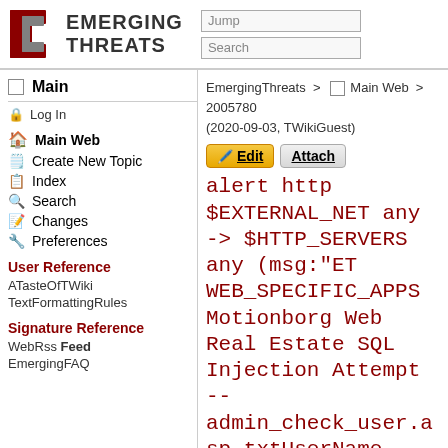[Figure (logo): Emerging Threats logo with dark red and gray square bracket icon and bold text EMERGING THREATS]
Jump [search box] | Search [search box]
Main
Log In
Main Web
Create New Topic
Index
Search
Changes
Preferences
User Reference
ATasteOfTWiki
TextFormattingRules
Signature Reference
WebRss Feed
EmergingFAQ
EmergingThreats > Main Web > 2005780 (2020-09-03, TWikiGuest)
Edit | Attach
alert http $EXTERNAL_NET any -> $HTTP_SERVERS any (msg:"ET WEB_SPECIFIC_APPS Motionborg Web Real Estate SQL Injection Attempt -- admin_check_user.asp txtUserName INSERT":